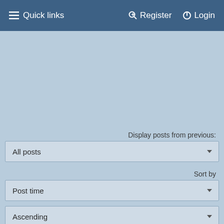≡ Quick links    🔑 Register   ⏻ Login
Display posts from previous:
All posts
Sort by
Post time
Ascending